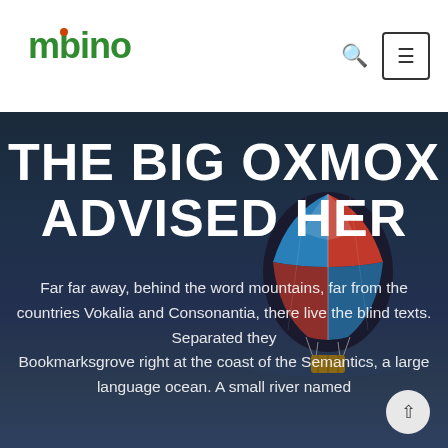mobino
THE BIG OXMOX ADVISED HER
[Figure (photo): Hot air balloon with red, blue and white stripes floating above water against a dark night sky]
Far far away, behind the word mountains, far from the countries Vokalia and Consonantia, there live the blind texts. Separated they Bookmarksgrove right at the coast of the Semantics, a large language ocean. A small river named